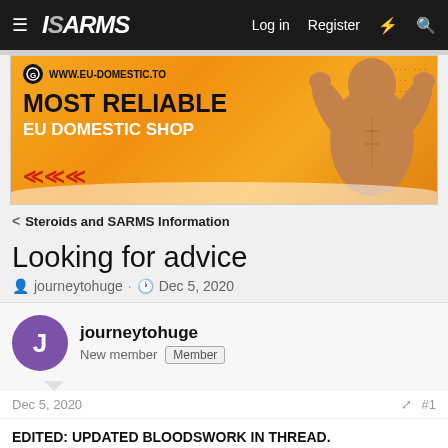ISARMS — Log in   Register
[Figure (illustration): Advertisement banner for www.eu-domestic.to showing a muscular bodybuilder with text 'MOST RELIABLE EU DOMESTIC SHOP' on orange background]
< Steroids and SARMS Information
Looking for advice
journeytohuge · Dec 5, 2020
journeytohuge
New member  Member
Dec 5, 2020   #1
EDITED: UPDATED BLOODSWORK IN THREAD.
Hey guys I am new to these forums and had a question about the bloodwork I will be getting 2 days. Im surrobtly running sust